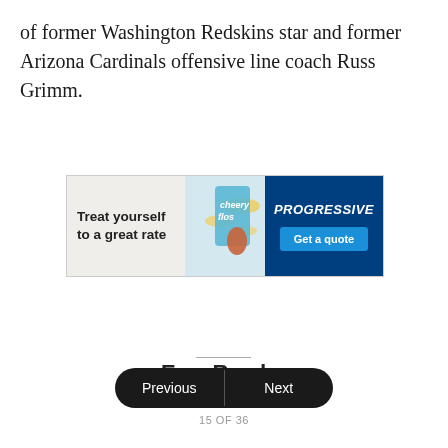of former Washington Redskins star and former Arizona Cardinals offensive line coach Russ Grimm.
[Figure (infographic): Progressive Insurance advertisement banner. Left side shows text 'Treat yourself to a great rate' with cereal/Cheerios imagery. Right side is dark blue with 'PROGRESSIVE' in bold italic white text and a blue 'Get a quote' button.]
Previous | Next
15 OF 36